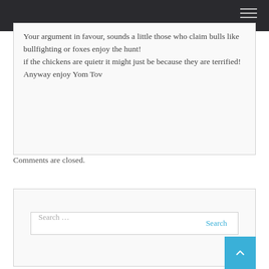Your argument in favour, sounds a little those who claim bulls like bullfighting or foxes enjoy the hunt!
if the chickens are quietr it might just be because they are terrified!
Anyway enjoy Yom Tov
Comments are closed.
Search ...